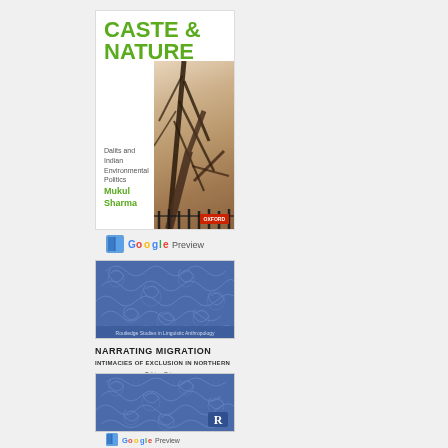[Figure (illustration): Book cover: Caste & Nature - Dalits and Indian Environmental Politics by Mukul Sharma, Oxford University Press. White cover with green title text and tree/branch photograph.]
[Figure (logo): Google Preview icon with book and Google logo]
[Figure (illustration): Book cover: Narrating Migration - Intimacies of Exclusion in Northern Italy by Tobias Prixner. Blue decorative scroll pattern cover, Routledge Studies in Linguistic Anthropology series.]
NARRATING MIGRATION
INTIMACIES OF EXCLUSION IN NORTHERN ITALY
Tobias Prixner
[Figure (illustration): Book cover: Same blue decorative scroll pattern cover with Routledge R logo.]
[Figure (logo): Google Preview icon with book and Google logo]